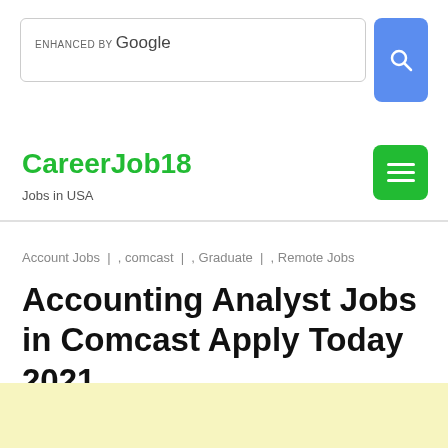[Figure (screenshot): Google search bar with 'ENHANCED BY Google' label and blue search button with magnifying glass icon]
CareerJob18
Jobs in USA
[Figure (other): Green hamburger menu button with three white horizontal lines]
Account Jobs  |  , comcast  |  , Graduate  |  , Remote Jobs
Accounting Analyst Jobs in Comcast Apply Today 2021